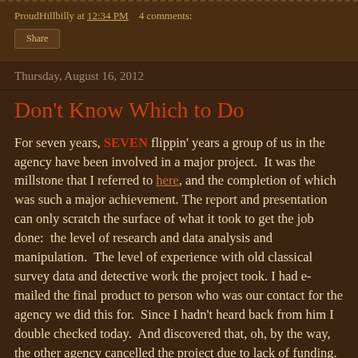ProudHillbilly at 12:34 PM   4 comments:
Share
Thursday, August 16, 2012
Don't Know Which to Do
For seven years, SEVEN flippin' years a group of us in the agency have been involved in a major project.  It was the millstone that I referred to here, and the completion of which was such a major achievement. The report and presentation can only scratch the surface of what it took to get the job done:  the level of research and data analysis and manipulation.  The level of experience with old classical survey data and detective work the project took. I had e-mailed the final product to person who was our contact for the agency we did this for.  Since I hadn't heard back from him I double checked today.  And discovered that, oh, by the way, the other agency cancelled the project due to lack of funding.  Apparently some time ago.